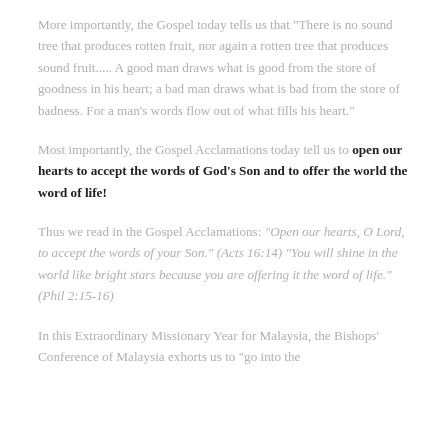More importantly, the Gospel today tells us that "There is no sound tree that produces rotten fruit, nor again a rotten tree that produces sound fruit..... A good man draws what is good from the store of goodness in his heart; a bad man draws what is bad from the store of badness. For a man's words flow out of what fills his heart."
Most importantly, the Gospel Acclamations today tell us to open our hearts to accept the words of God's Son and to offer the world the word of life!
Thus we read in the Gospel Acclamations: “Open our hearts, O Lord, to accept the words of your Son.” (Acts 16:14) “You will shine in the world like bright stars because you are offering it the word of life.” (Phil 2:15-16)
In this Extraordinary Missionary Year for Malaysia, the Bishops' Conference of Malaysia exhorts us to “go into the